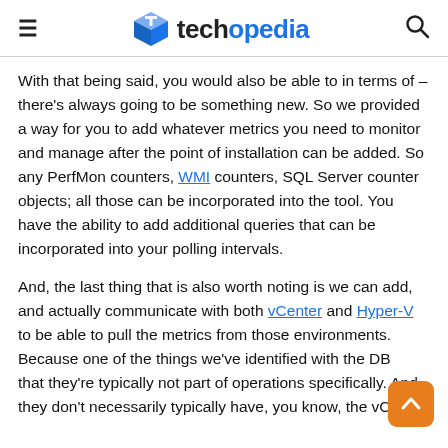techopedia
With that being said, you would also be able to in terms of – there's always going to be something new. So we provided a way for you to add whatever metrics you need to monitor and manage after the point of installation can be added. So any PerfMon counters, WMI counters, SQL Server counter objects; all those can be incorporated into the tool. You have the ability to add additional queries that can be incorporated into your polling intervals.
And, the last thing that is also worth noting is we can add, and actually communicate with both vCenter and Hyper-V to be able to pull the metrics from those environments. Because one of the things we've identified with the DBAs is that they're typically not part of operations specifically. And they don't necessarily typically have, you know, the vCenter